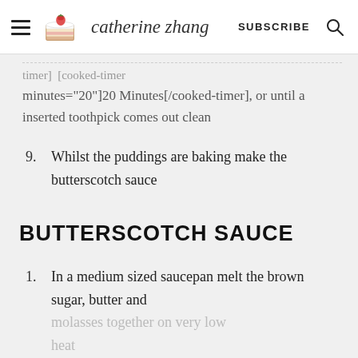catherine zhang — SUBSCRIBE [search icon]
timer] [cooked-timer minutes="20"]20 Minutes[/cooked-timer], or until a inserted toothpick comes out clean
9. Whilst the puddings are baking make the butterscotch sauce
BUTTERSCOTCH SAUCE
1. In a medium sized saucepan melt the brown sugar, butter and molasses together on very low heat